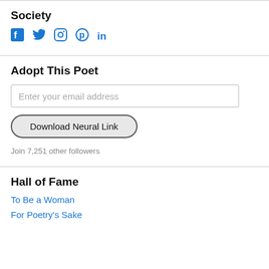Society
[Figure (other): Social media icons: Facebook, Twitter, Instagram, Pinterest, LinkedIn in blue]
Adopt This Poet
Enter your email address
Download Neural Link
Join 7,251 other followers
Hall of Fame
To Be a Woman
For Poetry's Sake